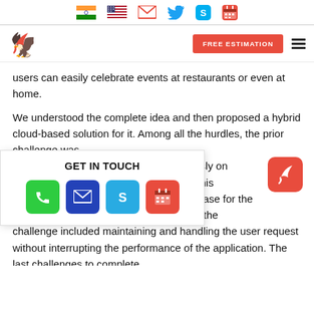Top navigation bar with India flag, US flag, email, Twitter, Skype, and calendar icons
Logo | FREE ESTIMATION button | hamburger menu
users can easily celebrate events at restaurants or even at home.
We understood the complete idea and then proposed a hybrid cloud-based solution for it. Among all the hurdles, the prior challenge was [simultaneously on] [d. Also, this] [ble database for the] backend. Thus the challenge included maintaining and handling the user request without interrupting the performance of the application. The last challenges to complete
GET IN TOUCH
[Figure (infographic): GET IN TOUCH popup with four colored icons: phone (green), email (dark blue), Skype (light blue), calendar (red)]
[Figure (logo): Red rounded square with white bird/arrow logo mark]